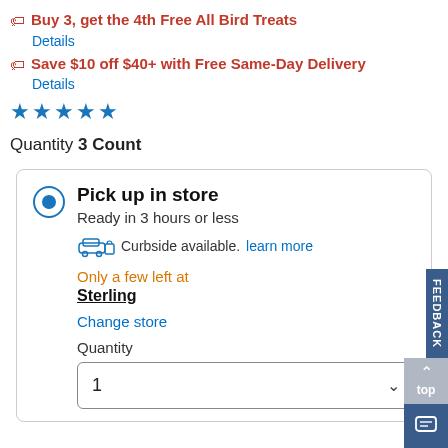Buy 3, get the 4th Free All Bird Treats
Details
Save $10 off $40+ with Free Same-Day Delivery
Details
[Figure (other): Five blue stars rating]
Quantity 3 Count
Pick up in store
Ready in 3 hours or less
Curbside available. learn more
Only a few left at Sterling
Change store
Quantity
1